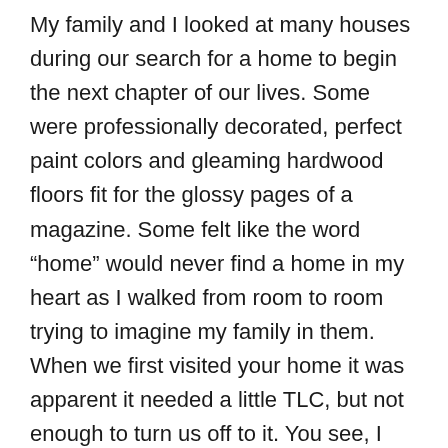My family and I looked at many houses during our search for a home to begin the next chapter of our lives. Some were professionally decorated, perfect paint colors and gleaming hardwood floors fit for the glossy pages of a magazine. Some felt like the word “home” would never find a home in my heart as I walked from room to room trying to imagine my family in them. When we first visited your home it was apparent it needed a little TLC, but not enough to turn us off to it. You see, I had already gathered you were recently divorced and had been living in the home on your own with your youngest of three children for a while so I expected some wear and tear to be evident as I imagined touch up paint and home maintenance may not have been at the top of your priorities nor possibly in your budget.
As we walked through your home, I saw the carpet that